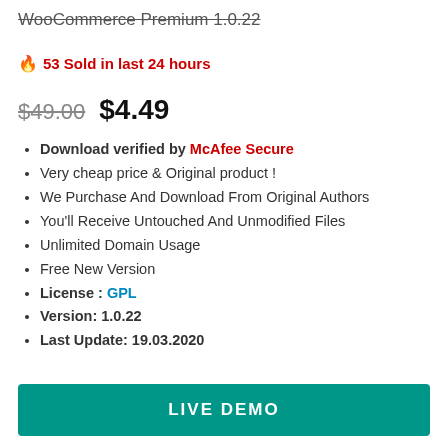WooCommerce Premium 1.0.22
🔥 53 Sold in last 24 hours
$49.00  $4.49
Download verified by McAfee Secure
Very cheap price & Original product !
We Purchase And Download From Original Authors
You'll Receive Untouched And Unmodified Files
Unlimited Domain Usage
Free New Version
License : GPL
Version: 1.0.22
Last Update: 19.03.2020
LIVE DEMO